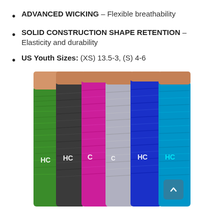ADVANCED WICKING - Flexible breathability
SOLID CONSTRUCTION SHAPE RETENTION - Elasticity and durability
US Youth Sizes: (XS) 13.5-3, (S) 4-6
[Figure (photo): Six colorful compression leg sleeves worn on legs, showing different color patterns: green, dark gray, pink/magenta, light gray, blue, and teal/cyan, each with a white HC logo.]